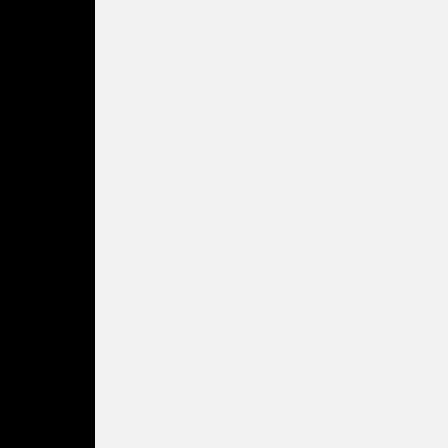fantasy, it probably starts w mysterious disappearance. Modesitt's Jnr's The Spells A few typos interrupt the flo speak...' confuses me. How unable to speak the langua happens every month, like sees a kidnapping? So Ellie the Necragii kill everyone i figure out what you mean. magic. I think you only nee
Hope something here is he
11 August 2011 at 02:06
Scooter Carlyle said...
Thanks for the comments,
First off, sorry about the ty late at night. :-( I agree tha
I'd like to tell you what I'm g clear things up a bit. I'm fu like may differ radically fro blog can help me accompli